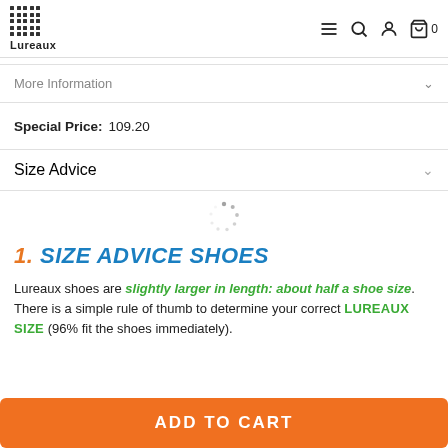Lureaux
More Information
Special Price: 109.20
Size Advice
1. SIZE ADVICE SHOES
Lureaux shoes are slightly larger in length: about half a shoe size. There is a simple rule of thumb to determine your correct LUREAUX SIZE (96% fit the shoes immediately).
ADD TO CART